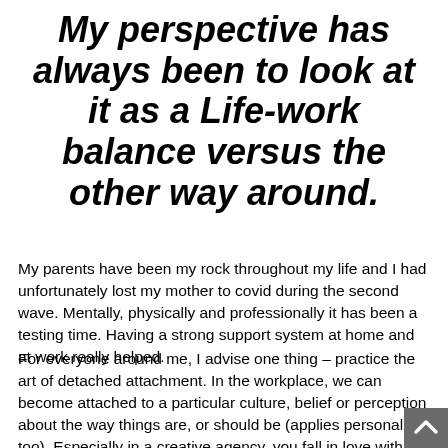My perspective has always been to look at it as a Life-work balance versus the other way around.
My parents have been my rock throughout my life and I had unfortunately lost my mother to covid during the second wave. Mentally, physically and professionally it has been a testing time. Having a strong support system at home and at work really helped.
For everyone around me, I advise one thing – practice the art of detached attachment. In the workplace, we can become attached to a particular culture, belief or perception about the way things are, or should be (applies personally too). Especially in a creative agency, you fall in love with every idea or strategy ever made! This extends